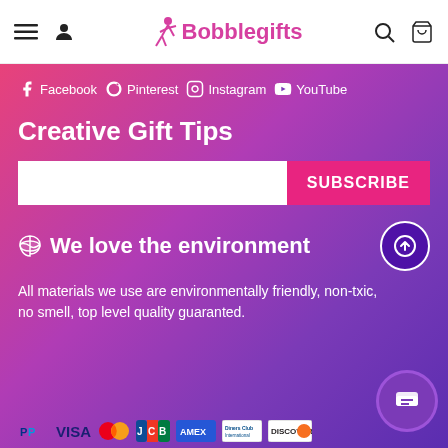Bobblegifts - navigation header with menu, user, search, and cart icons
Facebook Pinterest Instagram YouTube
Creative Gift Tips
SUBSCRIBE
🌿 We love the environment
All materials we use are environmentally friendly, non-txic, no smell, top level quality guaranted.
[Figure (logo): Payment method logos: PayPal, VISA, Mastercard, JCB, AMEX, Diners Club International, Discover]